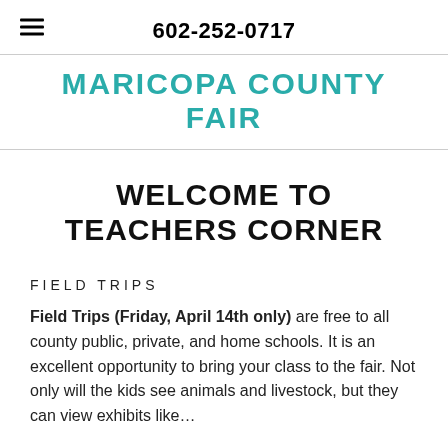602-252-0717
MARICOPA COUNTY FAIR
WELCOME TO TEACHERS CORNER
FIELD TRIPS
Field Trips (Friday, April 14th only) are free to all county public, private, and home schools. It is an excellent opportunity to bring your class to the fair. Not only will the kids see animals and livestock, but they can view exhibits like…